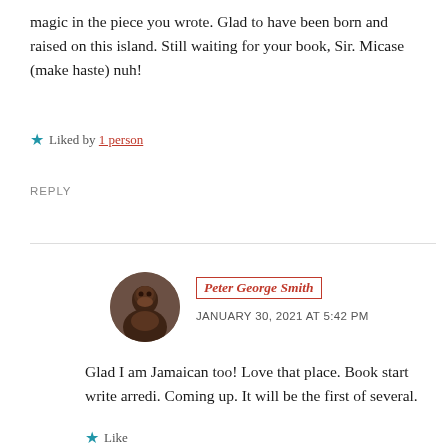magic in the piece you wrote. Glad to have been born and raised on this island. Still waiting for your book, Sir. Micase (make haste) nuh!
★ Liked by 1 person
REPLY
[Figure (photo): Circular avatar photo of Peter George Smith, a man with a shaved head against a neutral background]
Peter George Smith
JANUARY 30, 2021 AT 5:42 PM
Glad I am Jamaican too! Love that place. Book start write arredi. Coming up. It will be the first of several.
★ Like